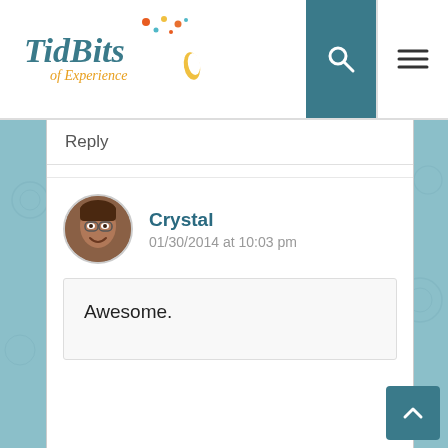[Figure (logo): TidBits of Experience blog logo with colorful dots]
Reply
[Figure (photo): Circular avatar photo of Crystal, a woman with glasses and brown hair]
Crystal
01/30/2014 at 10:03 pm
Awesome.
2
3